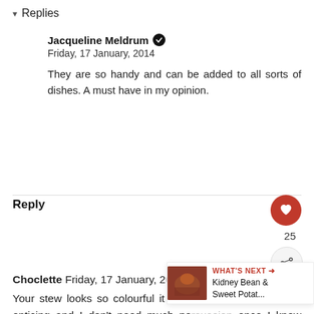▾ Replies
Jacqueline Meldrum ✔
Friday, 17 January, 2014
They are so handy and can be added to all sorts of dishes. A must have in my opinion.
Reply
Choclette Friday, 17 January, 2014
Your stew looks so colourful it makes it seem even more enticing and I don't need much persuasion once I know lentils are involved.